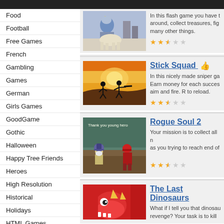Food
Football
Free Games
French
Gambling
Games
German
Girls Games
GoodGame
Gothic
Halloween
Happy Tree Friends
Heroes
High Resolution
Historical
Holidays
HTML Games
Japanese
Jokes
[Figure (screenshot): Flash game screenshot with knight on horse]
In this flash game you have to move around, collect treasures, figh... many other things.
★★½☆☆
Stick Squad
[Figure (screenshot): Stick Squad sniper game with silhouette figures against sunset]
In this nicely made sniper ga... Earn money for each succes... aim and fire. R to reload.
★★½☆☆
Rogue Soul 2
[Figure (screenshot): Rogue Soul 2 game screenshot with wizard and ninja characters]
Your mission is to collect all n... as you trying to reach end of...
★★½☆☆
The Last Dinosaurs
[Figure (screenshot): The Last Dinosaurs game with red dinosaur character]
What if I tell you that dinosau... revenge? Your task is to kill a...